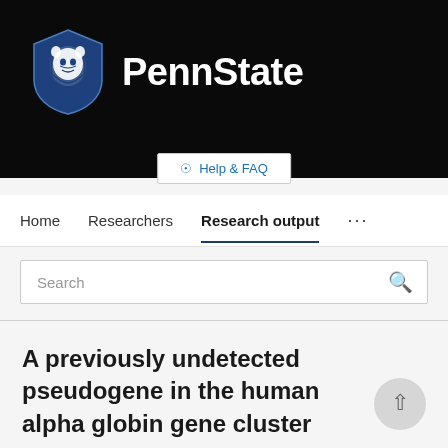[Figure (logo): Penn State university logo with shield icon and PennState text on dark background]
Help & FAQ
Home  Researchers  Research output  ...
Search
A previously undetected pseudogene in the human alpha globin gene cluster